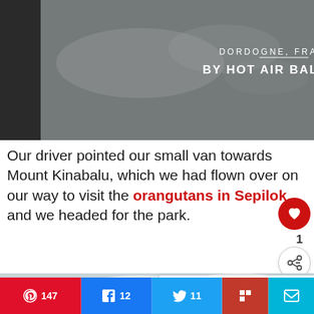[Figure (photo): Top banner image with dark left edge and text overlay reading 'DORDOGNE, FRANCE BY HOT AIR BALLOON' on a muted sky background]
DORDOGNE, FRANCE
BY HOT AIR BALLOON
Our driver pointed our small van towards Mount Kinabalu, which we had flown over on our way to visit the orangutans in Sepilok, and we headed for the park.
[Figure (photo): Landscape photo of a mountain (Mount Kinabalu) with clouds and a grass/reed plant in the foreground on the left side]
WHAT'S NEXT → Visiting the Sepilok...